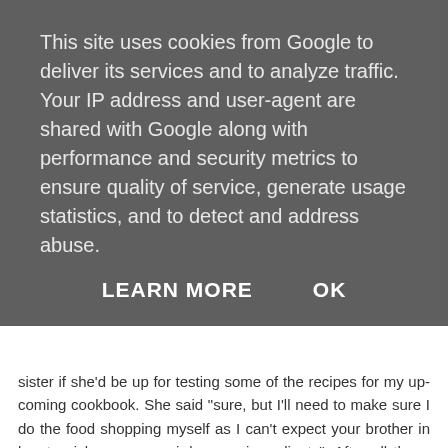This site uses cookies from Google to deliver its services and to analyze traffic. Your IP address and user-agent are shared with Google along with performance and security metrics to ensure quality of service, generate usage statistics, and to detect and address abuse.
LEARN MORE   OK
sister if she'd be up for testing some of the recipes for my up-coming cookbook. She said "sure, but I'll need to make sure I do the food shopping myself as I can't expect your brother in law to pick up your weird vegan ingredients". After all these years AND my blog, they still think I eat "weird food". I couldn't' help but chuckle to myself. I guess veg, fruits, nuts, seeds, beans, lentils, soya/almond milk will always be weird to some people ;)
Reply
Replies
ThatLisaClare  25 June 2015 at 19:17
So true. My family don't seem to realise that my